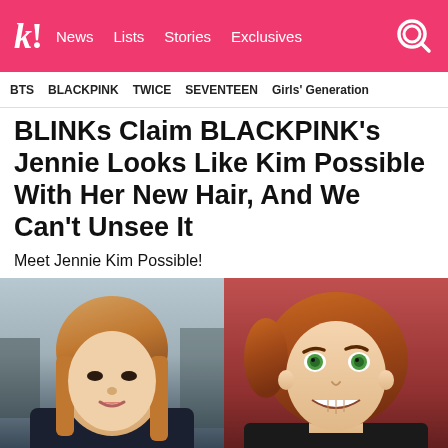k! News Lists Stories Exclusives
BTS   BLACKPINK   TWICE   SEVENTEEN   Girls' Generation
BLINKs Claim BLACKPINK's Jennie Looks Like Kim Possible With Her New Hair, And We Can't Unsee It
Meet Jennie Kim Possible!
[Figure (photo): Side-by-side composite image: left half shows a real photo of BLACKPINK's Jennie with strawberry-blonde hair; right half shows Kim Possible animated character with auburn hair and green eyes.]